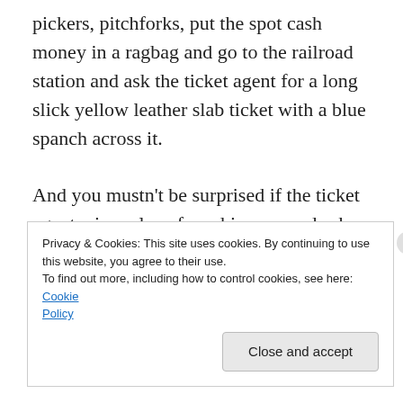pickers, pitchforks, put the spot cash money in a ragbag and go to the railroad station and ask the ticket agent for a long slick yellow leather slab ticket with a blue spanch across it.
And you mustn't be surprised if the ticket agent wipes sleep from his eyes and asks, “So far? So early? So soon?”
[Figure (illustration): Partial handwritten signature or decorative script visible at top of cookie banner area]
Privacy & Cookies: This site uses cookies. By continuing to use this website, you agree to their use.
To find out more, including how to control cookies, see here: Cookie Policy